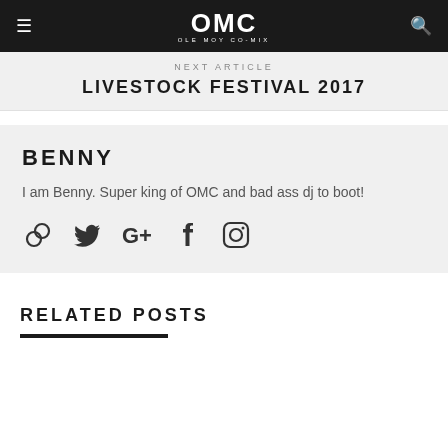OMC
NEXT ARTICLE
LIVESTOCK FESTIVAL 2017
BENNY
I am Benny. Super king of OMC and bad ass dj to boot!
[Figure (other): Social media icons: link, Twitter, Google+, Facebook, Instagram]
RELATED POSTS